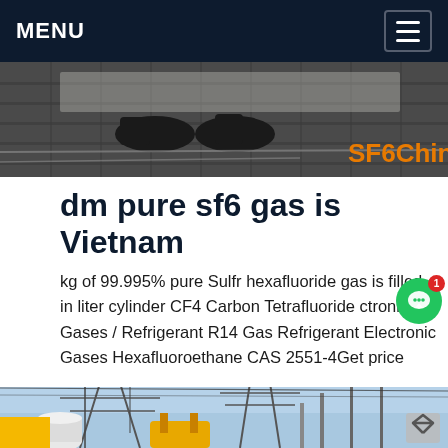MENU
[Figure (photo): Top photo showing feet/boots on metal grating surface with SF6China watermark in orange]
REQUEST A QUOTE
dm pure sf6 gas is Vietnam
kg of 99.995% pure Sulfr hexafluoride gas is filled in liter cylinder CF4 Carbon Tetrafluoride ctronic Gases / Refrigerant R14 Gas Refrigerant Electronic Gases Hexafluoroethane CAS 2551-4Get price
[Figure (photo): Bottom photo showing electrical substation infrastructure with transformers, towers, and yellow equipment under blue sky]